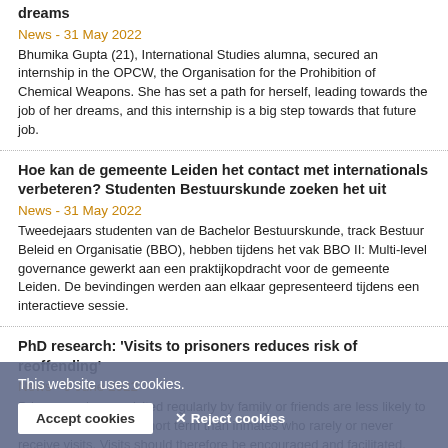dreams
News - 31 May 2022
Bhumika Gupta (21), International Studies alumna, secured an internship in the OPCW, the Organisation for the Prohibition of Chemical Weapons. She has set a path for herself, leading towards the job of her dreams, and this internship is a big step towards that future job.
Hoe kan de gemeente Leiden het contact met internationals verbeteren? Studenten Bestuurskunde zoeken het uit
News - 31 May 2022
Tweedejaars studenten van de Bachelor Bestuurskunde, track Bestuur Beleid en Organisatie (BBO), hebben tijdens het vak BBO II: Multi-level governance gewerkt aan een praktijkopdracht voor de gemeente Leiden. De bevindingen werden aan elkaar gepresenteerd tijdens een interactieve sessie.
PhD research: 'Visits to prisoners reduces risk of reoffending'
News - 9 June 2022
Prisoners who are visited regularly by family or friends are less likely to be reconvicted in the short term than inmates who rarely or never receive visits. Visits should therefore be encouraged and facilitated, says Marie Berghuis, who will defend her
'Artists seek and research another dimension of something'
This website uses cookies.